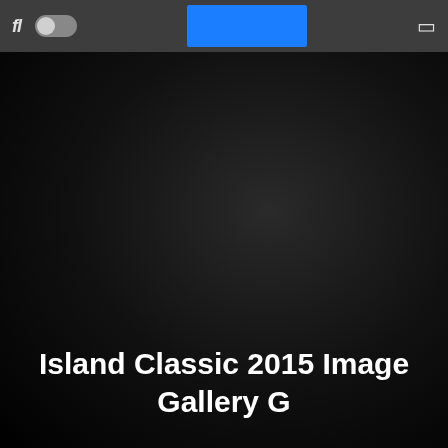[Figure (screenshot): Mobile app toolbar with italic 'fl' icon on left, a toggle switch (off position), a blue active tab in center, and a square icon on right. Dark grey background.]
Island Classic 2015 Image Gallery G